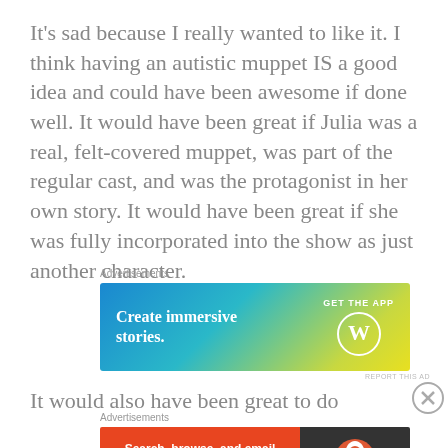It's sad because I really wanted to like it. I think having an autistic muppet IS a good idea and could have been awesome if done well. It would have been great if Julia was a real, felt-covered muppet, was part of the regular cast, and was the protagonist in her own story. It would have been great if she was fully incorporated into the show as just another character.
[Figure (screenshot): Advertisement banner: 'Create immersive stories. GET THE APP' with WordPress logo, blue-green-yellow gradient background]
It would also have been great to do some of the live